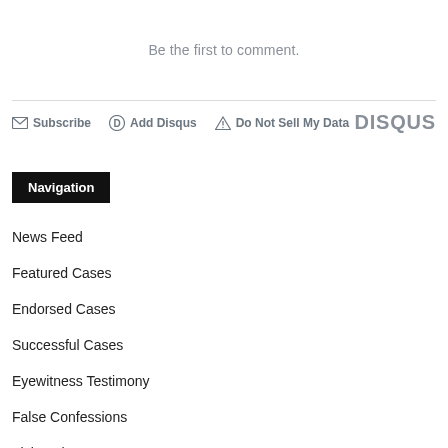Be the first to comment.
Subscribe  Add Disqus  Do Not Sell My Data  DISQUS
Navigation
News Feed
Featured Cases
Endorsed Cases
Successful Cases
Eyewitness Testimony
False Confessions
Fixing The System
Forensics